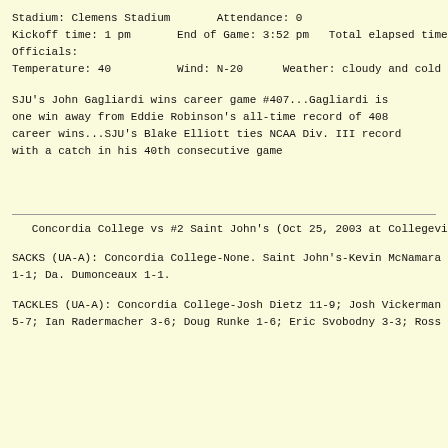Stadium: Clemens Stadium        Attendance: 0
Kickoff time: 1 pm        End of Game: 3:52 pm    Total elapsed time: 2:52
Officials:
Temperature: 40          Wind: N-20        Weather: cloudy and cold
SJU's John Gagliardi wins career game #407...Gagliardi is one win away from Eddie Robinson's all-time record of 408 career wins...SJU's Blake Elliott ties NCAA Div. III record with a catch in his 40th consecutive game
Concordia College vs #2 Saint John's (Oct 25, 2003 at Collegeville, Mi...
SACKS (UA-A): Concordia College-None. Saint John's-Kevin McNamara 1-1; Da. Dumonceaux 1-1.
TACKLES (UA-A): Concordia College-Josh Dietz 11-9; Josh Vickerman 5-7; Ian Radermacher 3-6; Doug Runke 1-6; Eric Svobodny 3-3; Ross Hebrink...